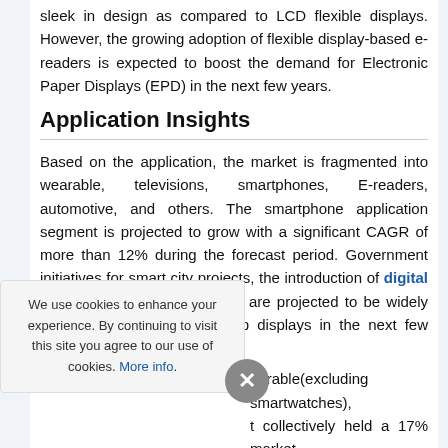sleek in design as compared to LCD flexible displays. However, the growing adoption of flexible display-based e-readers is expected to boost the demand for Electronic Paper Displays (EPD) in the next few years.
Application Insights
Based on the application, the market is fragmented into wearable, televisions, smartphones, E-readers, automotive, and others. The smartphone application segment is projected to grow with a significant CAGR of more than 12% during the forecast period. Government initiatives for smart city projects, the introduction of digital signage with flexible displays are projected to be widely used for advertising and map displays in the next few years.
earable(excluding smartwatches), t collectively held a 17% market The flexible display market is the transportation and he increasing demand for
We use cookies to enhance your experience. By continuing to visit this site you agree to our use of cookies. More info.